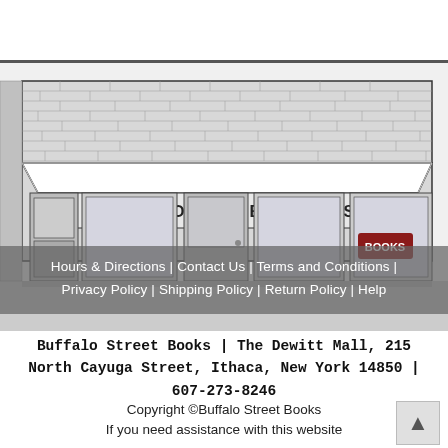[Figure (illustration): Black and white illustration of a brick building storefront labeled 'Buffalo Street Books' with an awning, windows, and a door. A semi-transparent gray navigation bar overlay reads 'Hours & Directions | Contact Us | Terms and Conditions | Privacy Policy | Shipping Policy | Return Policy | Help' in white text. A red 'Books' logo stamp is visible on the window.]
Buffalo Street Books | The Dewitt Mall, 215 North Cayuga Street, Ithaca, New York 14850 | 607-273-8246
Copyright ©Buffalo Street Books
If you need assistance with this website